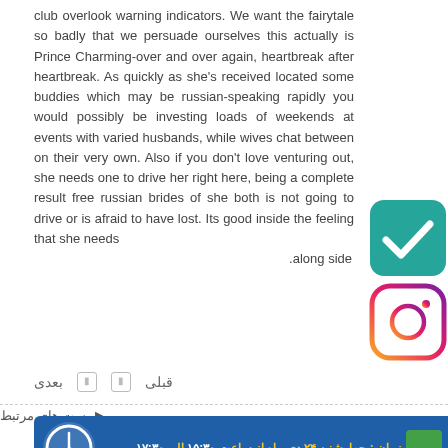club overlook warning indicators. We want the fairytale so badly that we persuade ourselves this actually is Prince Charming-over and over again, heartbreak after heartbreak. As quickly as she's received located some buddies which may be russian-speaking rapidly you would possibly be investing loads of weekends at events with varied husbands, while wives chat between on their very own. Also if you don't love venturing out, she needs one to drive her right here, being a complete result free russian brides of she both is not going to drive or is afraid to have lost. Its good inside the feeling that she needs .along side
[Figure (illustration): Green rounded square icon with white checkmark]
[Figure (illustration): Instagram logo icon with gradient border]
قبلی  بعدی
پست های مرتبط
[Figure (illustration): Blue banner with Persian text: زمان : چهارشنبه ۲۴ دی ماه از ساعت ۱۵:۳۰ الی ۱۷:۳۰ with a clock icon and green square]